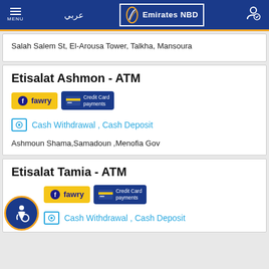Emirates NBD — Navigation header with menu, Arabic language toggle, logo, and user icon
Salah Salem St, El-Arousa Tower, Talkha, Mansoura
Etisalat Ashmon - ATM
[Figure (logo): Fawry badge and Credit Card payments badge]
Cash Withdrawal , Cash Deposit
Ashmoun Shama,Samadoun ,Menofia Gov
Etisalat Tamia - ATM
[Figure (logo): Fawry badge and Credit Card payments badge]
Cash Withdrawal , Cash Deposit